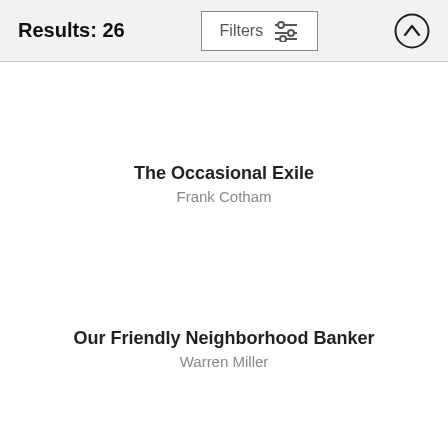Results: 26
The Occasional Exile
Frank Cotham
Our Friendly Neighborhood Banker
Warren Miller